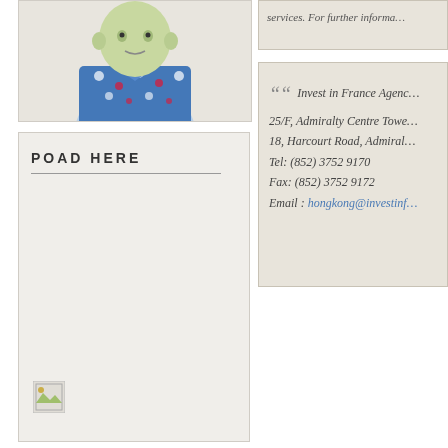[Figure (photo): A stuffed doll/toy wearing a blue floral shirt, viewed from waist up against a light background]
services. For further informa…
Invest in France Agency
25/F, Admiralty Centre Tower
18, Harcourt Road, Admiralt…
Tel: (852) 3752 9170
Fax: (852) 3752 9172
Email : hongkong@investinf…
POAD HERE
[Figure (photo): Broken/missing image placeholder icon]